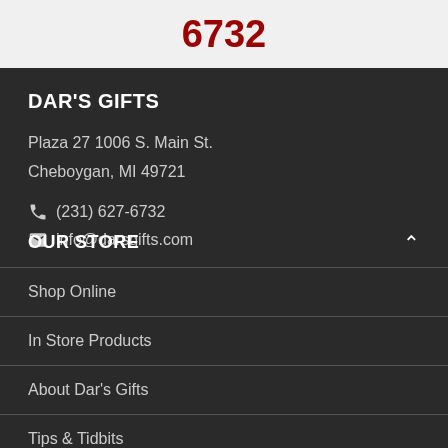6732
DAR'S GIFTS
Plaza 27 1006 S. Main St.
Cheboygan, MI 49721
(231) 627-6732
info@darsgifts.com
OUR STORE
Shop Online
In Store Products
About Dar's Gifts
Tips & Tidbits